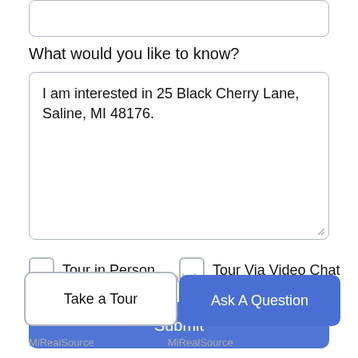What would you like to know?
I am interested in 25 Black Cherry Lane, Saline, MI 48176.
Tour in Person
Tour Via Video Chat
Submit
Disclaimer: By entering your information and submitting this form, you agree to our Terms of Use and Privacy Policy and that you may be contacted by phone, text message and email about your inquiry.
Take a Tour
Ask A Question